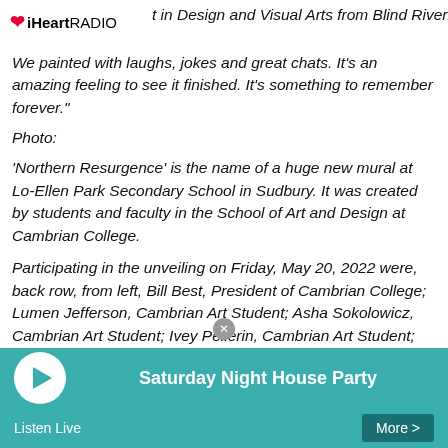iHeartRADIO
t in Design and Visual Arts from Blind River. We painted with laughs, jokes and great chats. It's an amazing feeling to see it finished. It's something to remember forever."
Photo:
'Northern Resurgence' is the name of a huge new mural at Lo-Ellen Park Secondary School in Sudbury. It was created by students and faculty in the School of Art and Design at Cambrian College.
Participating in the unveiling on Friday, May 20, 2022 were, back row, from left, Bill Best, President of Cambrian College; Lumen Jefferson, Cambrian Art Student; Asha Sokolowicz, Cambrian Art Student; Ivey Pellerin, Cambrian Art Student; Johanna Westby, Artist and Professor of Art and Design Fundamentals/Design and Visual Arts and Graphic Design Program at Cambrian College; Bob Clement, Chair of Rainbow District School Board; Brian Lobban, Dean of
Saturday Night House Party | Listen Live | More >